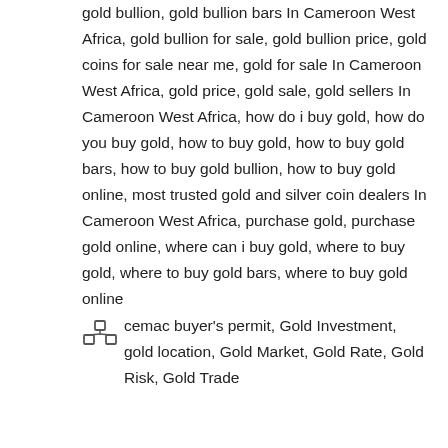gold bullion, gold bullion bars In Cameroon West Africa, gold bullion for sale, gold bullion price, gold coins for sale near me, gold for sale In Cameroon West Africa, gold price, gold sale, gold sellers In Cameroon West Africa, how do i buy gold, how do you buy gold, how to buy gold, how to buy gold bars, how to buy gold bullion, how to buy gold online, most trusted gold and silver coin dealers In Cameroon West Africa, purchase gold, purchase gold online, where can i buy gold, where to buy gold, where to buy gold bars, where to buy gold online
[Figure (other): Small category/tag icon (two rectangles stacked)]
cemac buyer's permit, Gold Investment, gold location, Gold Market, Gold Rate, Gold Risk, Gold Trade